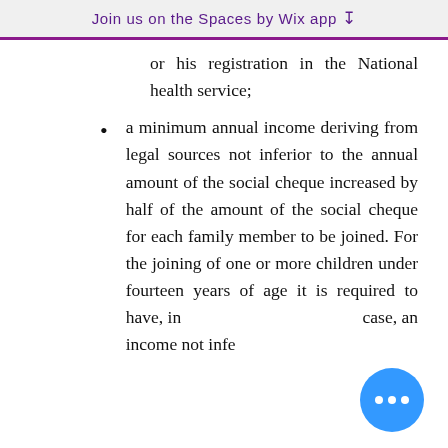Join us on the Spaces by Wix app ↓
or his registration in the National health service;
a minimum annual income deriving from legal sources not inferior to the annual amount of the social cheque increased by half of the amount of the social cheque for each family member to be joined. For the joining of one or more children under fourteen years of age it is required to have, in case, an income not inferior